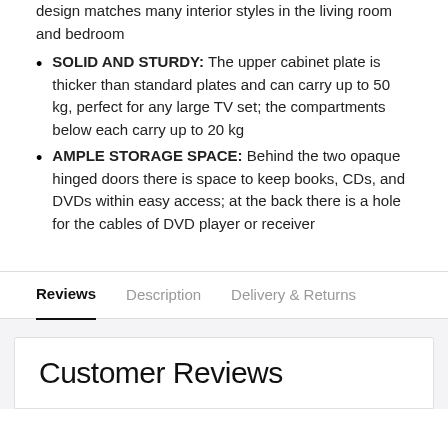design matches many interior styles in the living room and bedroom
SOLID AND STURDY: The upper cabinet plate is thicker than standard plates and can carry up to 50 kg, perfect for any large TV set; the compartments below each carry up to 20 kg
AMPLE STORAGE SPACE: Behind the two opaque hinged doors there is space to keep books, CDs, and DVDs within easy access; at the back there is a hole for the cables of DVD player or receiver
Reviews | Description | Delivery & Returns
Customer Reviews